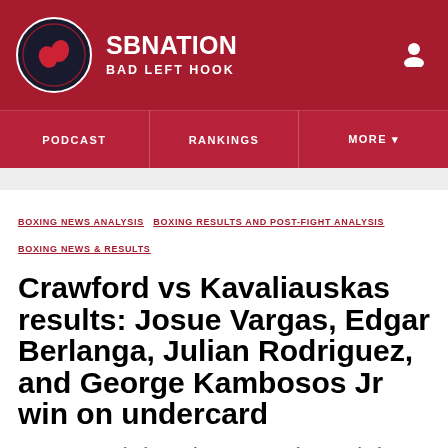SBNation Bad Left Hook
PODCAST  RANKINGS  MORE
BOXING NEWS ANALYSIS  BOXING RESULTS AND POST-FIGHT ANALYSIS  BOXING NEWS & RESULTS
Crawford vs Kavaliauskas results: Josue Vargas, Edgar Berlanga, Julian Rodriguez, and George Kambosos Jr win on undercard
Four prospects looking to become contenders marched on with victories in New York.